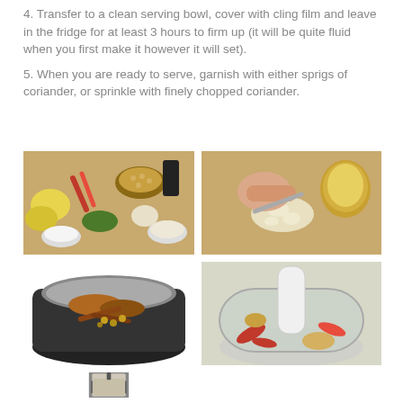4. Transfer to a clean serving bowl, cover with cling film and leave in the fridge for at least 3 hours to firm up (it will be quite fluid when you first make it however it will set).
5. When you are ready to serve, garnish with either sprigs of coriander, or sprinkle with finely chopped coriander.
[Figure (photo): Ingredients laid out on a wooden board: lemons, red chillies, bowl of chickpeas, garlic, herbs, spices in small bowls]
[Figure (photo): Hands chopping garlic on a wooden board with an onion nearby]
[Figure (photo): Spices and ingredients in a dark cooking pot]
[Figure (photo): Food processor bowl with red chillies, garlic and other ingredients, with blender attachment]
[Figure (photo): Blended hummus mixture in a food processor or blender container, pale beige color]